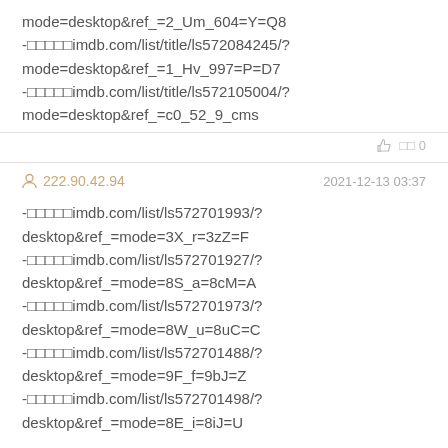mode=desktop&ref_=2_Um_604=Y=Q8
-□□□□□imdb.com/list/title/ls572084245/?mode=desktop&ref_=1_Hv_997=P=D7
-□□□□□imdb.com/list/title/ls572105004/?mode=desktop&ref_=c0_52_9_cms
👍 □□ 0
222.90.42.94
2021-12-13 03:37
-□□□□□imdb.com/list/ls572701993/?desktop&ref_=mode=3X_r=3zZ=F
-□□□□□imdb.com/list/ls572701927/?desktop&ref_=mode=8S_a=8cM=A
-□□□□□imdb.com/list/ls572701973/?desktop&ref_=mode=8W_u=8uC=C
-□□□□□imdb.com/list/ls572701488/?desktop&ref_=mode=9F_f=9bJ=Z
-□□□□□imdb.com/list/ls572701498/?desktop&ref_=mode=8E_i=8iJ=U